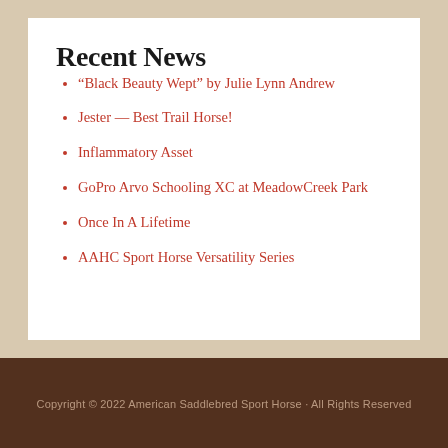Recent News
“Black Beauty Wept” by Julie Lynn Andrew
Jester — Best Trail Horse!
Inflammatory Asset
GoPro Arvo Schooling XC at MeadowCreek Park
Once In A Lifetime
AAHC Sport Horse Versatility Series
Copyright © 2022 American Saddlebred Sport Horse · All Rights Reserved